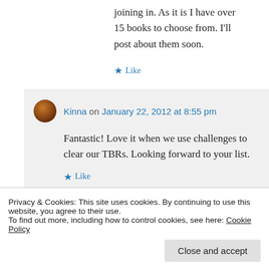joining in. As it is I have over 15 books to choose from. I'll post about them soon.
★ Like
Kinna on January 22, 2012 at 8:55 pm
Fantastic! Love it when we use challenges to clear our TBRs. Looking forward to your list.
★ Like
Privacy & Cookies: This site uses cookies. By continuing to use this website, you agree to their use.
To find out more, including how to control cookies, see here: Cookie Policy
Close and accept